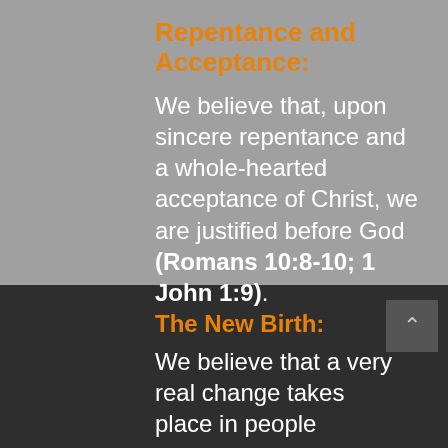Repentance and Acceptance:
We believe that, upon sincere repentance and a whole-hearted acceptance of Christ, we are justified before God (Romans 10:8-10; 1 John 1:9).
The New Birth:
We believe that a very real change takes place in people